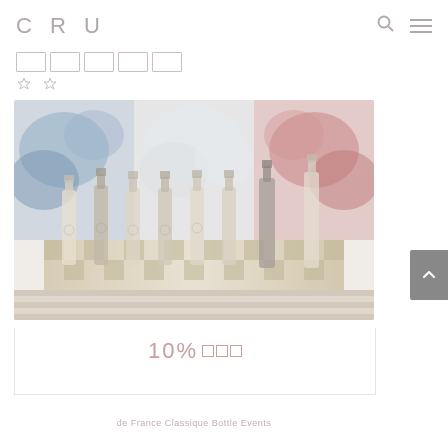CRU
[Figure (photo): Photo of multiple wine bottles arranged in a row on a striped surface, with blue, white, and red floral arrangements in the background resembling the French flag colors.]
10%
de France Classique Bottle Events